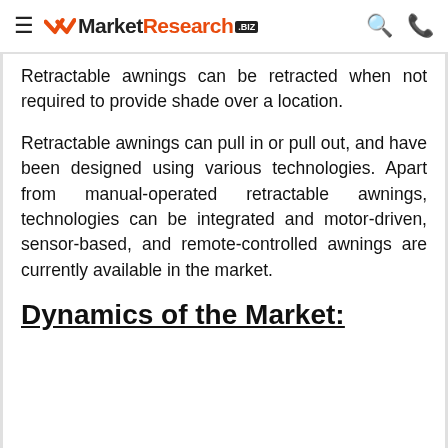MarketResearch.biz
Retractable awnings can be retracted when not required to provide shade over a location.
Retractable awnings can pull in or pull out, and have been designed using various technologies. Apart from manual-operated retractable awnings, technologies can be integrated and motor-driven, sensor-based, and remote-controlled awnings are currently available in the market.
Dynamics of the Market: